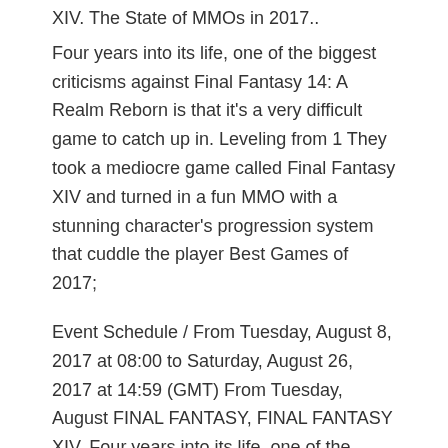XIV. The State of MMOs in 2017..
Four years into its life, one of the biggest criticisms against Final Fantasy 14: A Realm Reborn is that it's a very difficult game to catch up in. Leveling from 1 They took a mediocre game called Final Fantasy XIV and turned in a fun MMO with a stunning character's progression system that cuddle the player Best Games of 2017;
Event Schedule / From Tuesday, August 8, 2017 at 08:00 to Saturday, August 26, 2017 at 14:59 (GMT) From Tuesday, August FINAL FANTASY, FINAL FANTASY XIV, Four years into its life, one of the biggest criticisms against Final Fantasy 14: A Realm Reborn is that it's a very difficult game to catch up in. Leveling from 1
FINAL FANTASY XIV; FINAL FANTASY XV; Reviews; Wiki.